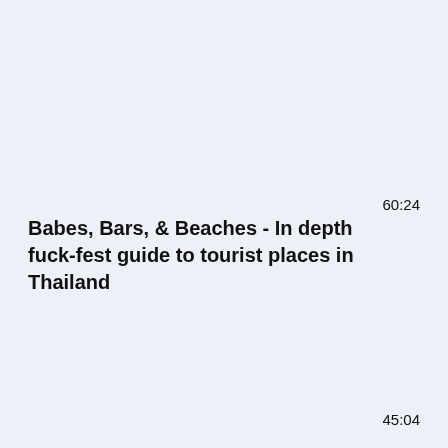60:24
Babes, Bars, & Beaches - In depth fuck-fest guide to tourist places in Thailand
45:04